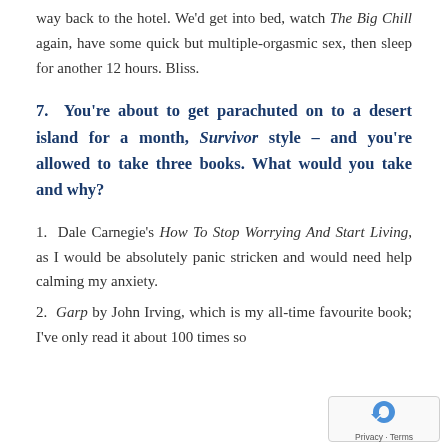way back to the hotel. We'd get into bed, watch The Big Chill again, have some quick but multiple-orgasmic sex, then sleep for another 12 hours. Bliss.
7.  You're about to get parachuted on to a desert island for a month, Survivor style – and you're allowed to take three books. What would you take and why?
1.  Dale Carnegie's How To Stop Worrying And Start Living, as I would be absolutely panic stricken and would need help calming my anxiety.
2.  Garp by John Irving, which is my all-time favourite book; I've only read it about 100 times so